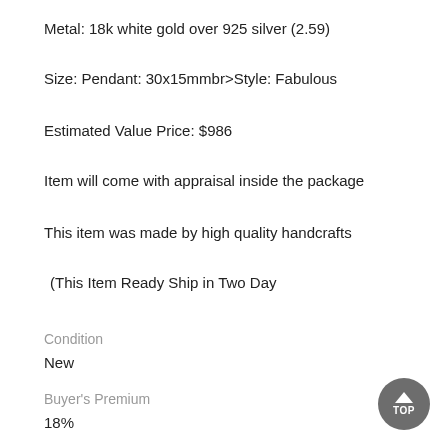Metal: 18k white gold over 925 silver (2.59)
Size: Pendant: 30x15mmbr>Style: Fabulous
Estimated Value Price: $986
Item will come with appraisal inside the package
This item was made by high quality handcrafts
(This Item Ready Ship in Two Day
Condition
New
Buyer's Premium
18%